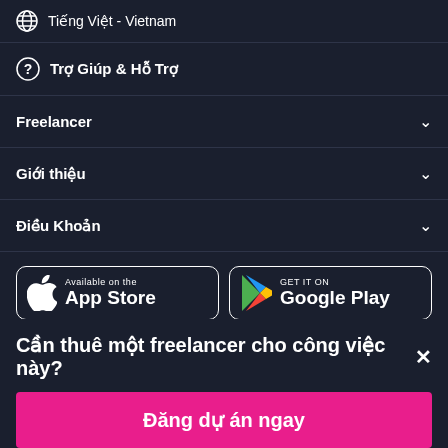Tiếng Việt - Vietnam
Trợ Giúp & Hỗ Trợ
Freelancer
Giới thiệu
Điều Khoản
[Figure (screenshot): App Store and Google Play download buttons]
Cần thuê một freelancer cho công việc này?×
Đăng dự án ngay